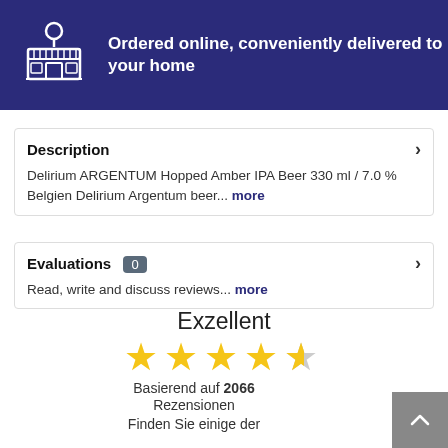[Figure (illustration): Dark blue banner with a shop/store icon (building with location pin) on the left]
Ordered online, conveniently delivered to your home
Description
Delirium ARGENTUM Hopped Amber IPA Beer 330 ml / 7.0 % Belgien Delirium Argentum beer... more
Evaluations 0
Read, write and discuss reviews... more
Exzellent
[Figure (illustration): 4.5 out of 5 stars rating — four full yellow stars and one half-grey star]
Basierend auf 2066
Rezensionen
Finden Sie einige der